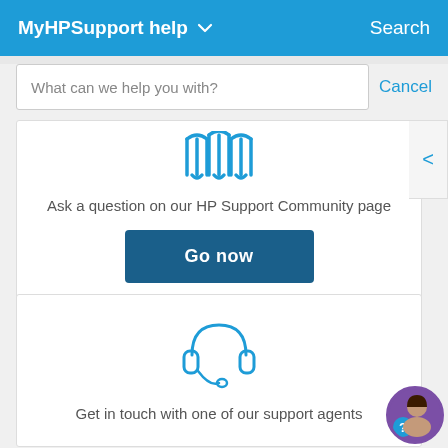MyHPSupport help
Search
What can we help you with?
Cancel
[Figure (illustration): HP Support Community icon - two speech bubbles in blue outline]
Ask a question on our HP Support Community page
Go now
[Figure (illustration): Headset/headphone icon in blue outline representing customer support agents]
Get in touch with one of our support agents